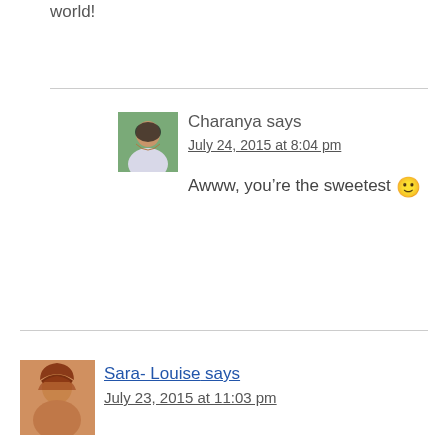world!
Charanya says
July 24, 2015 at 8:04 pm
Awww, you're the sweetest 🙂
[Figure (photo): Avatar photo of Charanya, a woman with long dark hair smiling outdoors]
Sara- Louise says
July 23, 2015 at 11:03 pm
[Figure (photo): Avatar photo of Sara-Louise, a woman with reddish-brown hair]